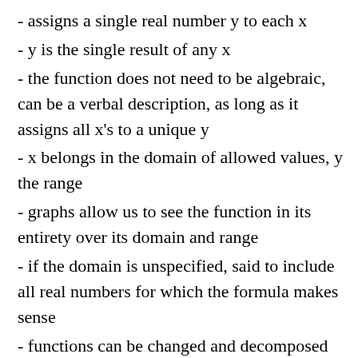- assigns a single real number y to each x
- y is the single result of any x
- the function does not need to be algebraic, can be a verbal description, as long as it assigns all x's to a unique y
- x belongs in the domain of allowed values, y the range
- graphs allow us to see the function in its entirety over its domain and range
- if the domain is unspecified, said to include all real numbers for which the formula makes sense
- functions can be changed and decomposed g(f(x)), this will be useful
1.7 Types of Functions: Examples of...